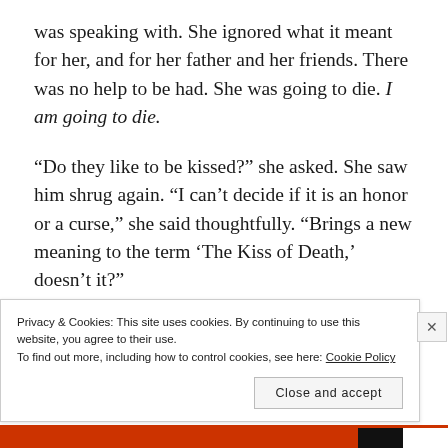was speaking with. She ignored what it meant for her, and for her father and her friends. There was no help to be had. She was going to die. I am going to die.
“Do they like to be kissed?” she asked. She saw him shrug again. “I can’t decide if it is an honor or a curse,” she said thoughtfully. “Brings a new meaning to the term ‘The Kiss of Death,’ doesn’t it?”
He smiled again. It was odd, the way he melded with the shadows. His white teeth stood out from the
Privacy & Cookies: This site uses cookies. By continuing to use this website, you agree to their use.
To find out more, including how to control cookies, see here: Cookie Policy